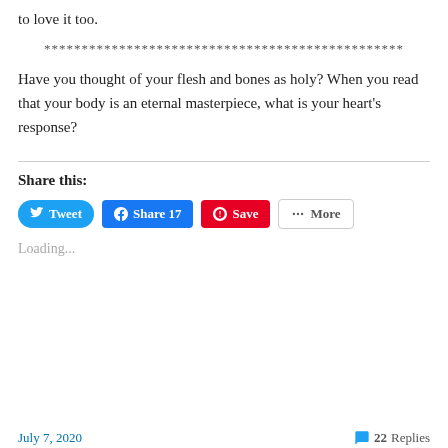to love it too.
************************************************
Have you thought of your flesh and bones as holy? When you read that your body is an eternal masterpiece, what is your heart’s response?
Share this:
Tweet | Share 17 | Save | More
Loading...
July 7, 2020    22 Replies